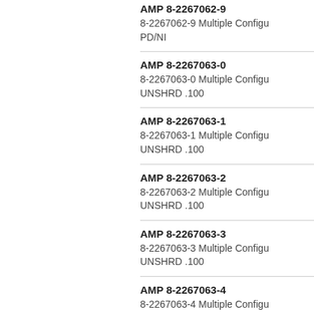AMP 8-2267062-9
8-2267062-9 Multiple Configu
PD/NI
AMP 8-2267063-0
8-2267063-0 Multiple Configu
UNSHRD .100
AMP 8-2267063-1
8-2267063-1 Multiple Configu
UNSHRD .100
AMP 8-2267063-2
8-2267063-2 Multiple Configu
UNSHRD .100
AMP 8-2267063-3
8-2267063-3 Multiple Configu
UNSHRD .100
AMP 8-2267063-4
8-2267063-4 Multiple Configu
UNSHRD .100
AMP 8-2267063-5